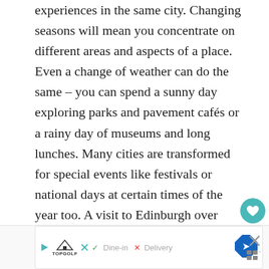experiences in the same city. Changing seasons will mean you concentrate on different areas and aspects of a place. Even a change of weather can do the same – you can spend a sunny day exploring parks and pavement cafés or a rainy day of museums and long lunches. Many cities are transformed for special events like festivals or national days at certain times of the year too. A visit to Edinburgh over Hogmanay, New York on Independence Day or Mexico City for the Day of the Dead would be completely different to being there at any other time of the year.
[Figure (other): Advertisement banner for TopGolf showing Dine-in and Delivery options with a navigation icon, and a close button with share/menu icons on the right side.]